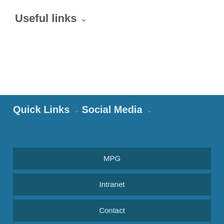Useful links ∨
Quick Links ∨
Social Media ∨
MPG
Intranet
Contact
FAQ
Remote Support